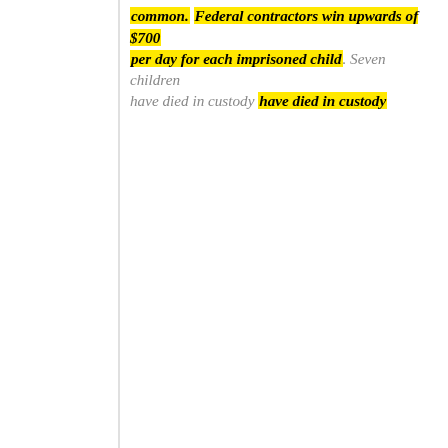common. Federal contractors win upwards of $700 per day for each imprisoned child. Seven children have died in custody to date, and many more have been hospitalized. Doctors worry they cannot serve in the camps without violating the Hippocratic oath. The camps themselves were continued from the Obama administration, but the withdrawal of basic necessities is Trump's innovation. What is this if not the very paganism conservatives decry?

This modern paganism ultimately means the nihilistic exercise of power for its own sake, especially power over weak and vulnerable bodies